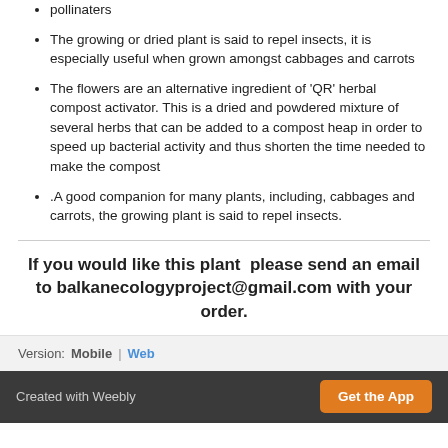pollinaters
The growing or dried plant is said to repel insects, it is especially useful when grown amongst cabbages and carrots
The flowers are an alternative ingredient of 'QR' herbal compost activator. This is a dried and powdered mixture of several herbs that can be added to a compost heap in order to speed up bacterial activity and thus shorten the time needed to make the compost
.A good companion for many plants, including, cabbages and carrots, the growing plant is said to repel insects.
If you would like this plant  please send an email to balkanecologyproject@gmail.com with your order.
Version:  Mobile | Web
Created with Weebly   Get the App